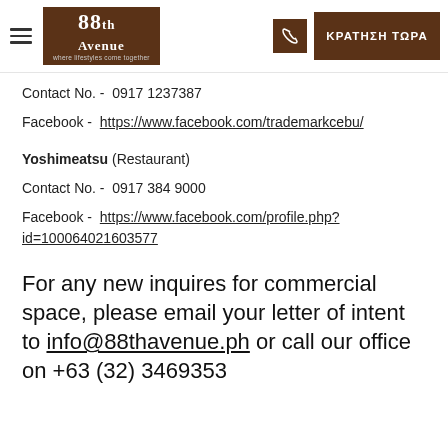[Figure (logo): 88th Avenue logo with hamburger menu, phone icon button, and ΚΡΑΤΗΣΗ ΤΩΡΑ booking button]
Contact No. -  0917 1237387
Facebook -   https://www.facebook.com/trademarkcebu/
Yoshimeatsu (Restaurant)
Contact No. -  0917 384 9000
Facebook -  https://www.facebook.com/profile.php?id=100064021603577
For any new inquires for commercial space, please email your letter of intent to info@88thavenue.ph or call our office on +63 (32) 3469353